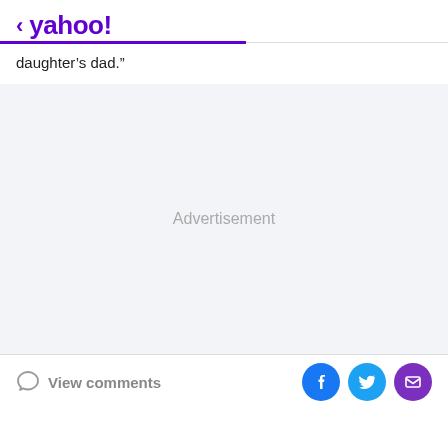< yahoo!
daughter's dad."
[Figure (other): Advertisement placeholder area with light gray background and centered 'Advertisement' label]
View comments | Facebook share | Twitter share | Email share